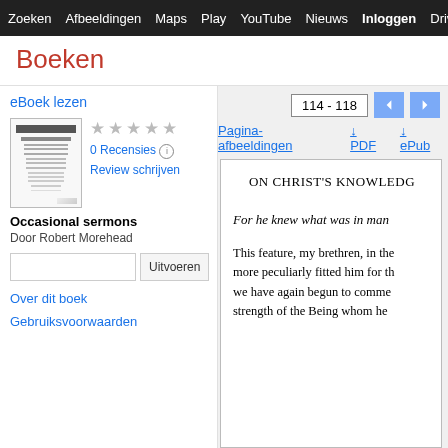Zoeken  Afbeeldingen  Maps  Play  YouTube  Nieuws  Inloggen  Drive  Settings  M
Boeken
114 - 118
Pagina-afbeeldingen  ↓ PDF  ↓ ePub
eBoek lezen
[Figure (photo): Thumbnail of book cover for Occasional sermons by Robert Morehead]
0 Recensies  Review schrijven
Occasional sermons
Door Robert Morehead
Uitvoeren
Over dit boek
Gebruiksvoorwaarden
ON CHRIST'S KNOWLEDG
For he knew what was in man
This feature, my brethren, in the more peculiarly fitted him for th we have again begun to comme strength of the Being whom he